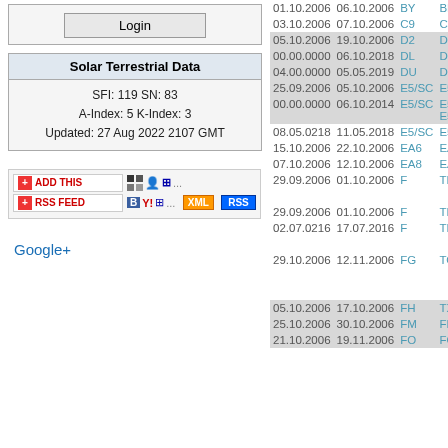Login
| Solar Terrestrial Data |
| --- |
| SFI: 119 SN: 83 |
| A-Index: 5 K-Index: 3 |
| Updated: 27 Aug 2022 2107 GMT |
[Figure (other): Social sharing buttons: ADD THIS, RSS FEED with bookmark icons, XML and RSS buttons]
Google+
| Start | End | Prefix | Callsign |
| --- | --- | --- | --- |
| 01.10.2006 | 06.10.2006 | BY | BB2KW... |
| 03.10.2006 | 07.10.2006 | C9 | C91BW... |
| 05.10.2006 | 19.10.2006 | D2 | D20VB... |
| 00.00.0000 | 06.10.2018 | DL | DL8DZ... |
| 04.00.0000 | 05.05.2019 | DU | DZ1A |
| 25.09.2006 | 05.10.2006 | E5/SC | E51AP... |
| 00.00.0000 | 06.10.2014 | E5/SC | E51HD... E51XI... |
| 08.05.0218 | 11.05.2018 | E5/SC | E51KM... |
| 15.10.2006 | 22.10.2006 | EA6 | EA6/DK... |
| 07.10.2006 | 12.10.2006 | EA8 | EA8/DK... |
| 29.09.2006 | 01.10.2006 | F | TP20C... |
| 29.09.2006 | 01.10.2006 | F | TP20C... |
| 02.07.0216 | 17.07.2016 | F | TM84M... |
| 29.10.2006 | 12.11.2006 | FG | TO8RR... |
| 05.10.2006 | 17.10.2006 | FH | TX6A... |
| 25.10.2006 | 30.10.2006 | FM | FM/K9M... |
| 21.10.2006 | 19.11.2006 | FO | FO/F5J... |